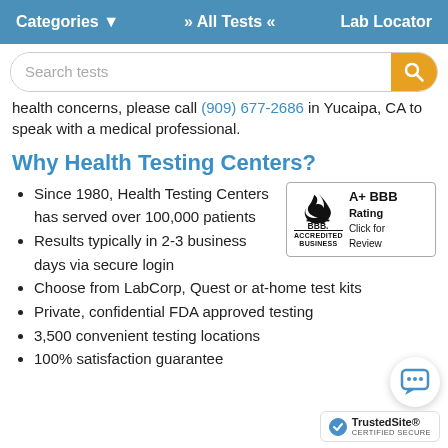Categories ▾  » All Tests «  Lab Locator
Search tests
health concerns, please call (909) 677-2686 in Yucaipa, CA to speak with a medical professional.
Why Health Testing Centers?
Since 1980, Health Testing Centers has served over 100,000 patients
Results typically in 2-3 business days via secure login
Choose from LabCorp, Quest or at-home test kits
Private, confidential FDA approved testing
3,500 convenient testing locations
100% satisfaction guarantee
[Figure (logo): BBB Accredited Business logo with A+ BBB Rating and 'Click for Review' text]